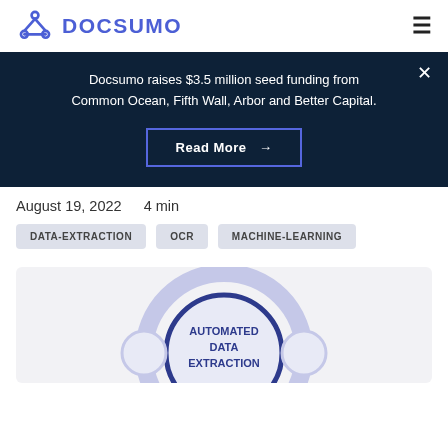DOCSUMO
Docsumo raises $3.5 million seed funding from Common Ocean, Fifth Wall, Arbor and Better Capital.
Read More →
August 19, 2022   4 min
DATA-EXTRACTION
OCR
MACHINE-LEARNING
[Figure (infographic): Circular diagram showing AUTOMATED DATA EXTRACTION in the center, partially visible at bottom of page]